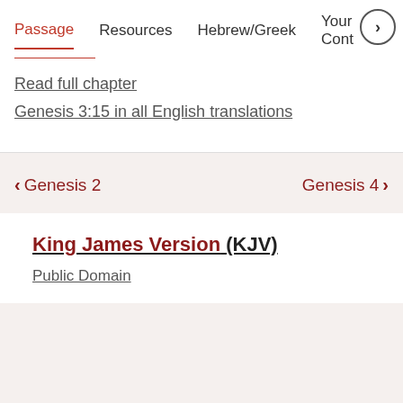Passage   Resources   Hebrew/Greek   Your Cont >
Read full chapter
Genesis 3:15 in all English translations
< Genesis 2    Genesis 4 >
King James Version (KJV)
Public Domain